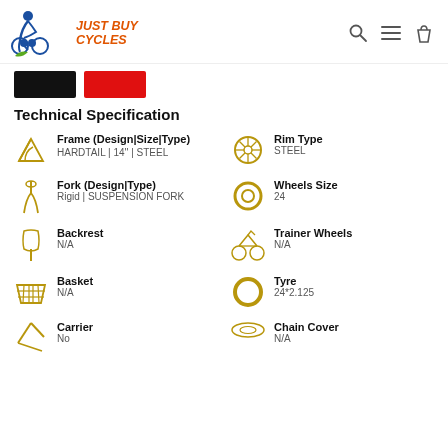Just Buy Cycles
[Figure (illustration): Two color swatches: black and red rectangles]
Technical Specification
| Spec | Value |
| --- | --- |
| Frame (Design|Size|Type) | HARDTAIL | 14'' | STEEL |
| Rim Type | STEEL |
| Fork (Design|Type) | Rigid | SUSPENSION FORK |
| Wheels Size | 24 |
| Backrest | N/A |
| Trainer Wheels | N/A |
| Basket | N/A |
| Tyre | 24*2.125 |
| Carrier | No |
| Chain Cover | N/A |